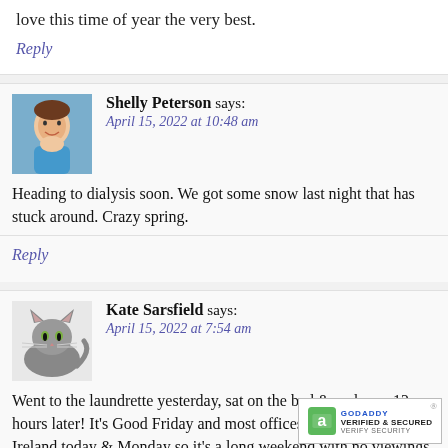love this time of year the very best.
Reply
Shelly Peterson says:
April 15, 2022 at 10:48 am
Heading to dialysis soon. We got some snow last night that has stuck around. Crazy spring.
Reply
Kate Sarsfield says:
April 15, 2022 at 7:54 am
Went to the laundrette yesterday, sat on the bed & woke up 12 hours later! It's Good Friday and most offices are closed in Ireland today & Monday so it's a long weekend with no viewings lined up. There's an Easter Parade here on Sunday for the f... the Pandemic started so that'll be some...ing to look...